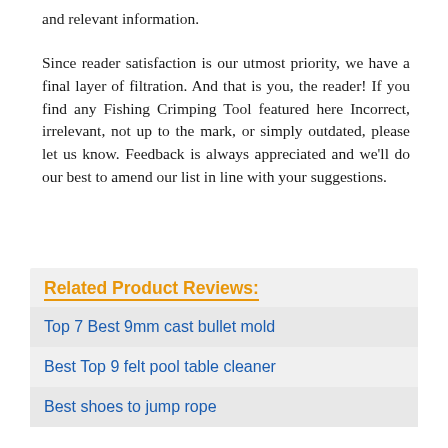and relevant information.
Since reader satisfaction is our utmost priority, we have a final layer of filtration. And that is you, the reader! If you find any Fishing Crimping Tool featured here Incorrect, irrelevant, not up to the mark, or simply outdated, please let us know. Feedback is always appreciated and we'll do our best to amend our list in line with your suggestions.
Related Product Reviews:
Top 7 Best 9mm cast bullet mold
Best Top 9 felt pool table cleaner
Best shoes to jump rope